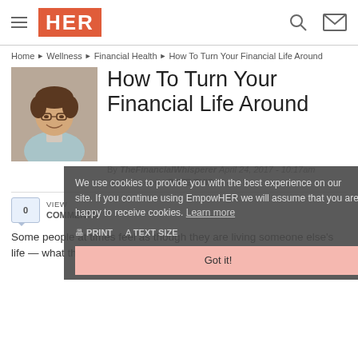HER
Home ► Wellness ► Financial Health ► How To Turn Your Financial Life Around
[Figure (photo): Author photo: woman with curly hair and glasses, smiling, wearing light blue cardigan]
How To Turn Your Financial Life Around
By TheFinancialWhisperer  April 24, 2017 - 10:17am
★★★★★ RATE THIS
We use cookies to provide you with the best experience on our site. If you continue using EmpowHER we will assume that you are happy to receive cookies. Learn more
PRINT  TEXT SIZE
Got it!
0  VIEW COMMENTS
Some people at times feel as though they are living someone else's life — what they say, how they feel, and